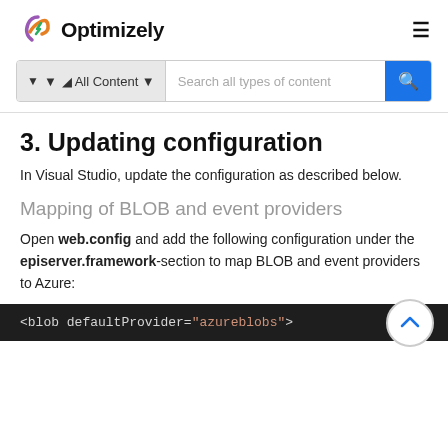Optimizely
[Figure (screenshot): Search bar with 'All Content' filter dropdown and 'Search all types of content' placeholder, with blue search button]
3. Updating configuration
In Visual Studio, update the configuration as described below.
Mapping of BLOB and event providers
Open web.config and add the following configuration under the episerver.framework-section to map BLOB and event providers to Azure:
<blob defaultProvider="azureblobs">